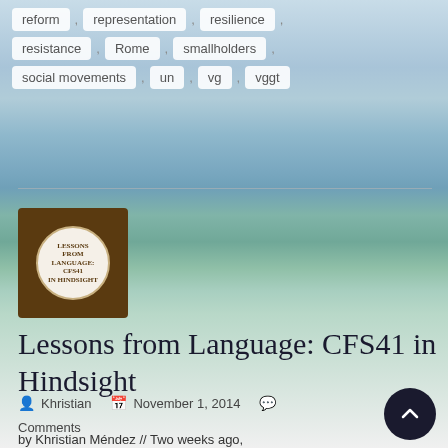reform , representation , resilience ,
resistance , Rome , smallholders ,
social movements , un , vg , vggt
[Figure (illustration): Book cover thumbnail showing a circular logo with text 'Lessons from Language: CFS41 in Hindsight' on a brown background]
Lessons from Language: CFS41 in Hindsight
Khristian   November 1, 2014   Comments
by Khristian Méndez // Two weeks ago, Chairperson Gerda Verburg was wrapping up